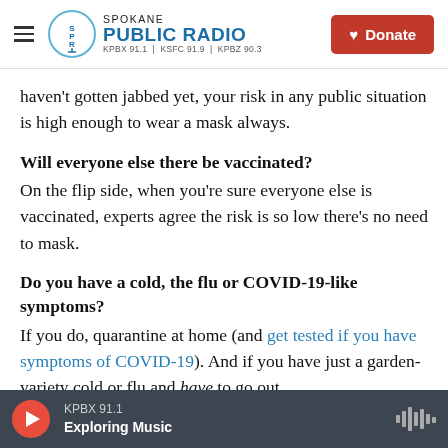Spokane Public Radio | KPBX 91.1 | KSFC 91.9 | KPBZ 90.3 | Donate
haven't gotten jabbed yet, your risk in any public situation is high enough to wear a mask always.
Will everyone else there be vaccinated?
On the flip side, when you're sure everyone else is vaccinated, experts agree the risk is so low there's no need to mask.
Do you have a cold, the flu or COVID-19-like symptoms?
If you do, quarantine at home (and get tested if you have symptoms of COVID-19). And if you have just a garden-variety cold or flu and have to go out,
KPBX 91.1 | Exploring Music